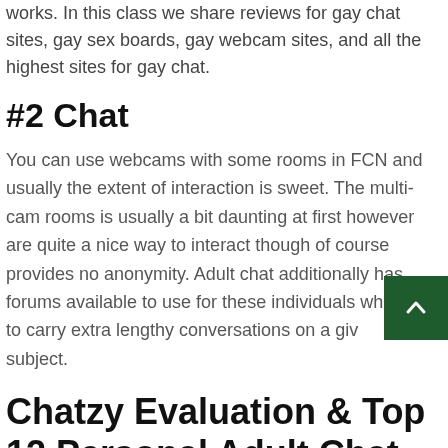works. In this class we share reviews for gay chat sites, gay sex boards, gay webcam sites, and all the highest sites for gay chat.
#2 Chat
You can use webcams with some rooms in FCN and usually the extent of interaction is sweet. The multi-cam rooms is usually a bit daunting at first however are quite a nice way to interact though of course provides no anonymity. Adult chat additionally has forums available to use for these individuals who favor to carry extra lengthy conversations on a given subject.
Chatzy Evaluation & Top 12 Personal Adult Chat Rooms